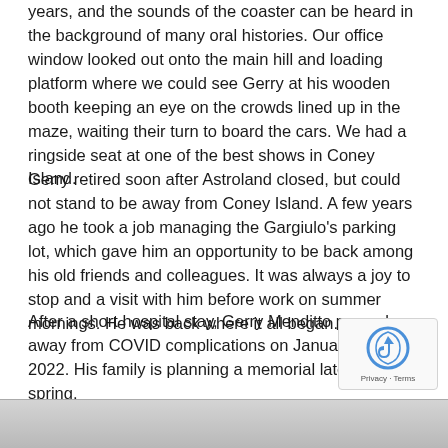years, and the sounds of the coaster can be heard in the background of many oral histories. Our office window looked out onto the main hill and loading platform where we could see Gerry at his wooden booth keeping an eye on the crowds lined up in the maze, waiting their turn to board the cars. We had a ringside seat at one of the best shows in Coney Island.
Gerry retired soon after Astroland closed, but could not stand to be away from Coney Island. A few years ago he took a job managing the Gargiulo's parking lot, which gave him an opportunity to be back among his old friends and colleagues. It was always a joy to stop and a visit with him before work on summer mornings. He was back where it all began.
After a short hospital stay, Gerry Menditto passed away from COVID complications on January 5th 2022. His family is planning a memorial later this spring.
- Charles Denson
[Figure (photo): Bottom strip showing a partial photograph, mostly gray tones]